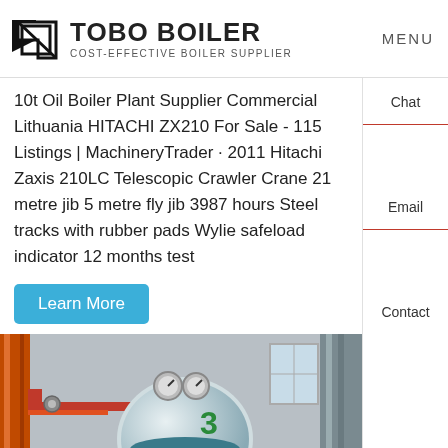TOBO BOILER — COST-EFFECTIVE BOILER SUPPLIER — MENU
10t Oil Boiler Plant Supplier Commercial Lithuania HITACHI ZX210 For Sale - 115 Listings | MachineryTrader · 2011 Hitachi Zaxis 210LC Telescopic Crawler Crane 21 metre jib 5 metre fly jib 3987 hours Steel tracks with rubber pads Wylie safeload indicator 12 months test
Learn More
[Figure (photo): Industrial boiler installation interior showing orange vertical pipes, a large cylindrical boiler tank with pressure gauges on top and number 3 marked on it, red horizontal pipes, metal framework structures, and a window in the background.]
Chat
Email
Contact
Hey, we are live 24/7. How may I help you?